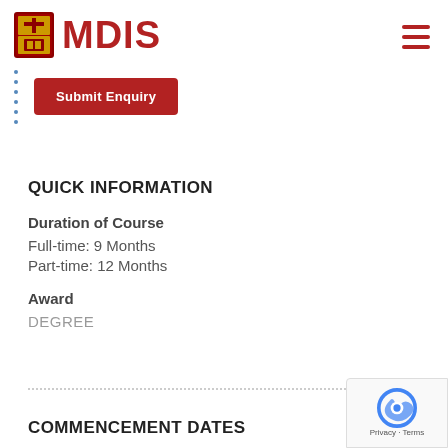MDIS
[Figure (logo): MDIS logo with crest and red MDIS text]
Submit Enquiry
QUICK INFORMATION
Duration of Course
Full-time: 9 Months
Part-time: 12 Months
Award
DEGREE
COMMENCEMENT DATES